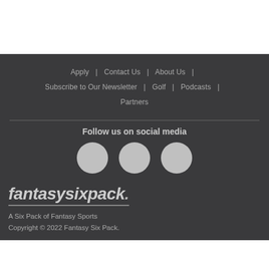Apply | Contact Us | About Us | Subscribe to Our Newsletter | Golf | Podcasts | Partners
Follow us on social media
[Figure (illustration): Three circular social media icon placeholders in light gray]
[Figure (logo): fantasysixpack logo in italic bold gray text with underline]
A Six Pack of Fantasy Sports
Copyright © 2022 Fantasy Six Pack.